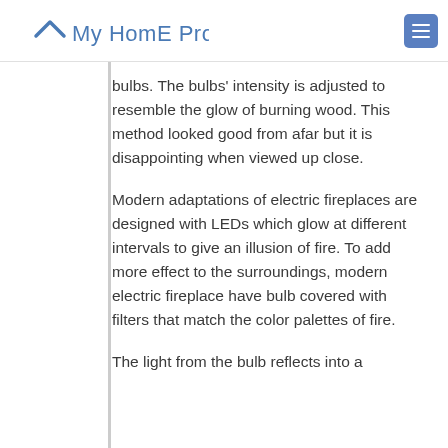My HomE Product
bulbs. The bulbs' intensity is adjusted to resemble the glow of burning wood. This method looked good from afar but it is disappointing when viewed up close.
Modern adaptations of electric fireplaces are designed with LEDs which glow at different intervals to give an illusion of fire. To add more effect to the surroundings, modern electric fireplace have bulb covered with filters that match the color palettes of fire.
The light from the bulb reflects into a